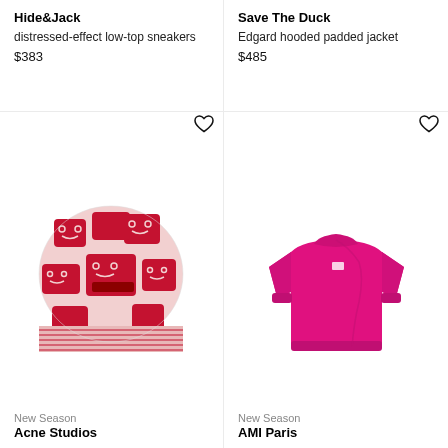Hide&Jack
distressed-effect low-top sneakers
$383
Save The Duck
Edgard hooded padded jacket
$485
[Figure (photo): Acne Studios red and pink checkered knit beanie with smiley face pattern]
New Season
Acne Studios
[Figure (photo): AMI Paris bright magenta/pink crew neck sweatshirt]
New Season
AMI Paris